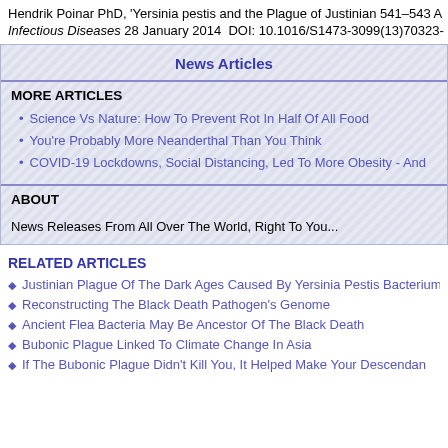Hendrik Poinar PhD, 'Yersinia pestis and the Plague of Justinian 541–543 A...
Infectious Diseases 28 January 2014  DOI: 10.1016/S1473-3099(13)70323-
News Articles
MORE ARTICLES
Science Vs Nature: How To Prevent Rot In Half Of All Food
You're Probably More Neanderthal Than You Think
COVID-19 Lockdowns, Social Distancing, Led To More Obesity - And...
ABOUT
News Releases From All Over The World, Right To You...
RELATED ARTICLES
Justinian Plague Of The Dark Ages Caused By Yersinia Pestis Bacterium...
Reconstructing The Black Death Pathogen's Genome
Ancient Flea Bacteria May Be Ancestor Of The Black Death
Bubonic Plague Linked To Climate Change In Asia
If The Bubonic Plague Didn't Kill You, It Helped Make Your Descendan...